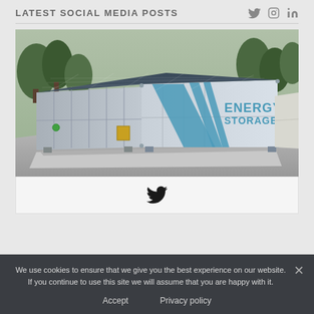LATEST SOCIAL MEDIA POSTS
[Figure (photo): Energy storage container unit with solar panels on top and blue diagonal branding reading ENERGY STORAGE, surrounded by trees and paving]
[Figure (logo): Twitter bird icon in black]
We use cookies to ensure that we give you the best experience on our website. If you continue to use this site we will assume that you are happy with it.
Accept    Privacy policy